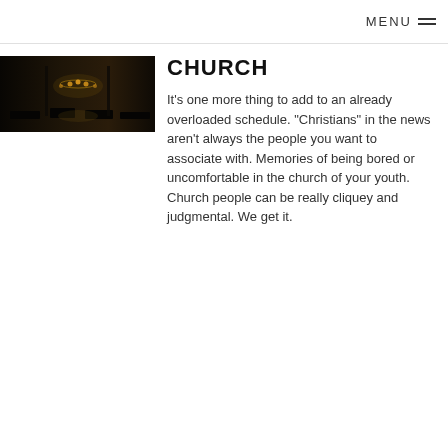MENU ≡
[Figure (photo): Dark interior photo of a church at night, showing dim amber/golden lights and shadowy architectural details]
CHURCH
It's one more thing to add to an already overloaded schedule. "Christians" in the news aren't always the people you want to associate with. Memories of being bored or uncomfortable in the church of your youth. Church people can be really cliquey and judgmental. We get it.